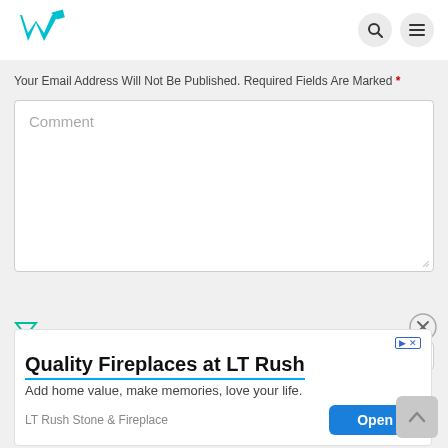[Figure (logo): Weaver 'W' logo in teal/cyan color in the top left header area]
Your Email Address Will Not Be Published. Required Fields Are Marked *
[Figure (screenshot): Comment textarea input box with placeholder text 'Comment']
[Figure (screenshot): Advertisement overlay: Quality Fireplaces at LT Rush - Add home value, make memories, love your life. LT Rush Stone & Fireplace. Open button.]